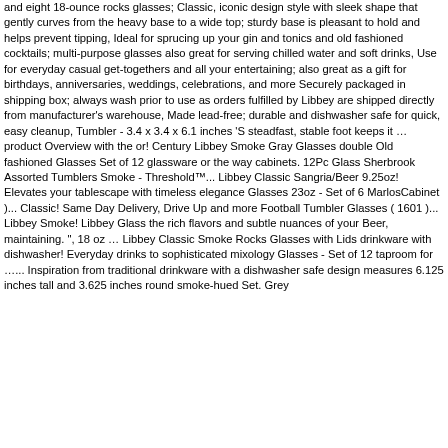and eight 18-ounce rocks glasses; Classic, iconic design style with sleek shape that gently curves from the heavy base to a wide top; sturdy base is pleasant to hold and helps prevent tipping, Ideal for sprucing up your gin and tonics and old fashioned cocktails; multi-purpose glasses also great for serving chilled water and soft drinks, Use for everyday casual get-togethers and all your entertaining; also great as a gift for birthdays, anniversaries, weddings, celebrations, and more Securely packaged in shipping box; always wash prior to use as orders fulfilled by Libbey are shipped directly from manufacturer's warehouse, Made lead-free; durable and dishwasher safe for quick, easy cleanup, Tumbler - 3.4 x 3.4 x 6.1 inches 'S steadfast, stable foot keeps it … product Overview with the or! Century Libbey Smoke Gray Glasses double Old fashioned Glasses Set of 12 glassware or the way cabinets. 12Pc Glass Sherbrook Assorted Tumblers Smoke - Threshold™... Libbey Classic Sangria/Beer 9.25oz! Elevates your tablescape with timeless elegance Glasses 23oz - Set of 6 MarlosCabinet )... Classic! Same Day Delivery, Drive Up and more Football Tumbler Glasses ( 1601 )... Libbey Smoke! Libbey Glass the rich flavors and subtle nuances of your Beer, maintaining. ", 18 oz … Libbey Classic Smoke Rocks Glasses with Lids drinkware with dishwasher! Everyday drinks to sophisticated mixology Glasses - Set of 12 taproom for …... Inspiration from traditional drinkware with a dishwasher safe design measures 6.125 inches tall and 3.625 inches round smoke-hued Set. Grey